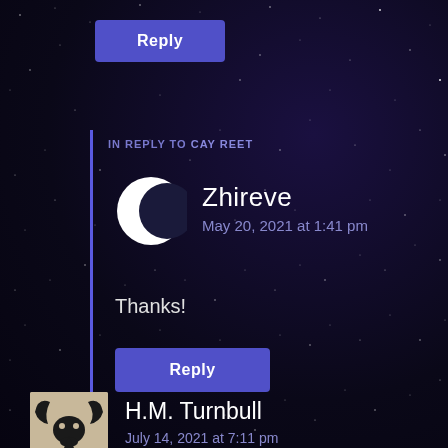[Figure (screenshot): Reply button at top of comment section, purple/blue button]
IN REPLY TO CAY REET
[Figure (illustration): Crescent moon avatar icon for user Zhireve]
Zhireve
May 20, 2021 at 1:41 pm
Thanks!
[Figure (screenshot): Reply button, purple/blue button]
[Figure (illustration): Avatar for H.M. Turnbull showing a stylized bull/horns logo on beige background]
H.M. Turnbull
July 14, 2021 at 7:11 pm